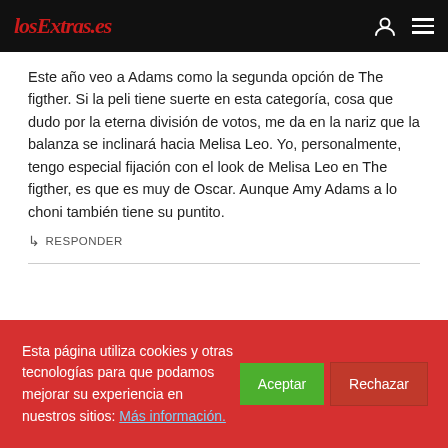losExtras.es
Este año veo a Adams como la segunda opción de The figther. Si la peli tiene suerte en esta categoría, cosa que dudo por la eterna división de votos, me da en la nariz que la balanza se inclinará hacia Melisa Leo. Yo, personalmente, tengo especial fijación con el look de Melisa Leo en The figther, es que es muy de Oscar. Aunque Amy Adams a lo choni también tiene su puntito.
↳ RESPONDER
Esta página utiliza cookies y otras tecnologías para que podamos mejorar su experiencia en nuestros sitios: Más información.